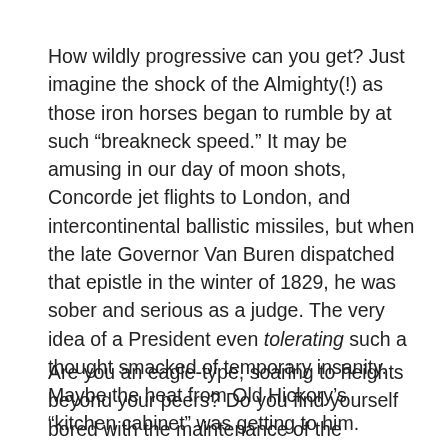How wildly progressive can you get? Just imagine the shock of the Almighty(!) as those iron horses began to rumble by at such “breackneck speed.” It may be amusing in our day of moon shots, Concorde jet flights to London, and intercontinental ballistic missiles, but when the late Governor Van Buren dispatched that epistle in the winter of 1829, he was sober and serious as a judge. The very idea of a President even tolerating such a thought smacked of temporary insanity. Maybe the heat from Old Hickory’s “kitchen cabinet” was getting to him.
Are you an eagle-type, soaring to heights beyond your peers? Do you find yourself bored with the maintenance of the